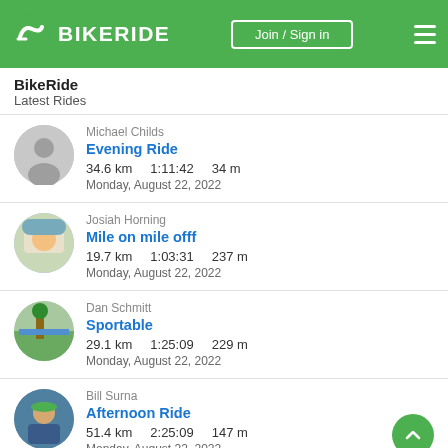BIKERIDE | Join / Sign in
BikeRide
Latest Rides
Michael Childs
Evening Ride
34.6 km   1:11:42   34 m
Monday, August 22, 2022
Josiah Horning
Mile on mile offf
19.7 km   1:03:31   237 m
Monday, August 22, 2022
Dan Schmitt
Sportable
29.1 km   1:25:09   229 m
Monday, August 22, 2022
Bill Surna
Afternoon Ride
51.4 km   2:25:09   147 m
Monday, August 22, 2022